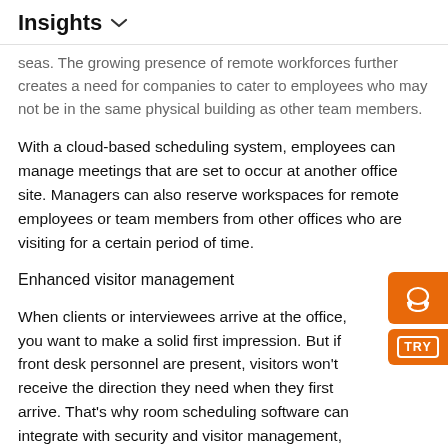Insights
seas. The growing presence of remote workforces further creates a need for companies to cater to employees who may not be in the same physical building as other team members.
With a cloud-based scheduling system, employees can manage meetings that are set to occur at another office site. Managers can also reserve workspaces for remote employees or team members from other offices who are visiting for a certain period of time.
Enhanced visitor management
When clients or interviewees arrive at the office, you want to make a solid first impression. But if front desk personnel are present, visitors won't receive the direction they need when they first arrive. That's why room scheduling software can integrate with security and visitor management, using digital displays to greet guests and direct them to the correct location.